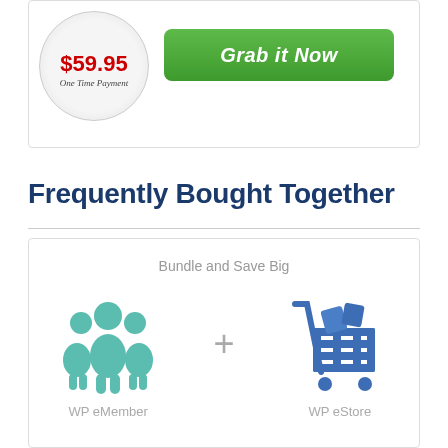[Figure (infographic): Price circle showing $59.95 One Time Payment with a green Grab it Now button]
Frequently Bought Together
[Figure (infographic): Bundle and Save Big graphic showing WP eMember icon (teal people group) plus WP eStore icon (blue shopping cart)]